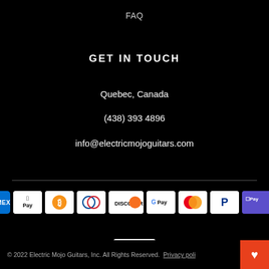FAQ
GET IN TOUCH
Quebec, Canada
(438) 393 4896
info@electricmojoguitars.com
[Figure (other): Payment method icons: American Express, Apple Pay, Bitcoin, Diners Club, Discover, Google Pay, Mastercard, PayPal, Shopify Pay, Visa]
© 2022 Electric Mojo Guitars, Inc. All Rights Reserved.  Privacy poli...